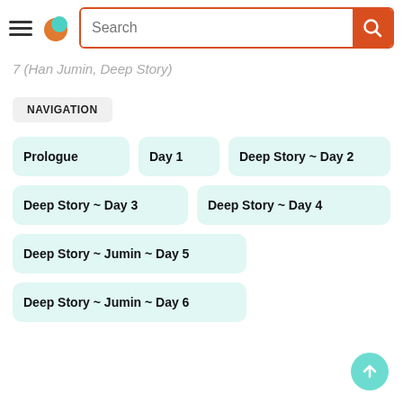Search
7 (Han Jumin, Deep Story)
NAVIGATION
Prologue
Day 1
Deep Story ~ Day 2
Deep Story ~ Day 3
Deep Story ~ Day 4
Deep Story ~ Jumin ~ Day 5
Deep Story ~ Jumin ~ Day 6